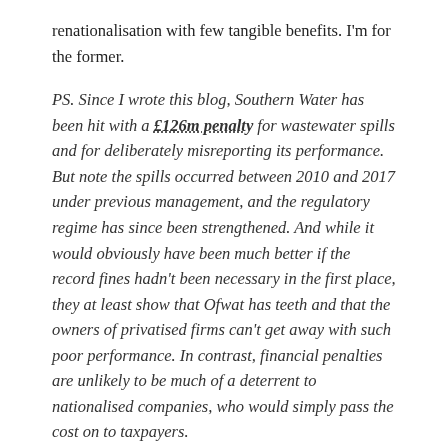renationalisation with few tangible benefits. I'm for the former.
PS. Since I wrote this blog, Southern Water has been hit with a £126m penalty for wastewater spills and for deliberately misreporting its performance. But note the spills occurred between 2010 and 2017 under previous management, and the regulatory regime has since been strengthened. And while it would obviously have been much better if the record fines hadn't been necessary in the first place, they at least show that Ofwat has teeth and that the owners of privatised firms can't get away with such poor performance. In contrast, financial penalties are unlikely to be much of a deterrent to nationalised companies, who would simply pass the cost on to taxpayers.
Share this: